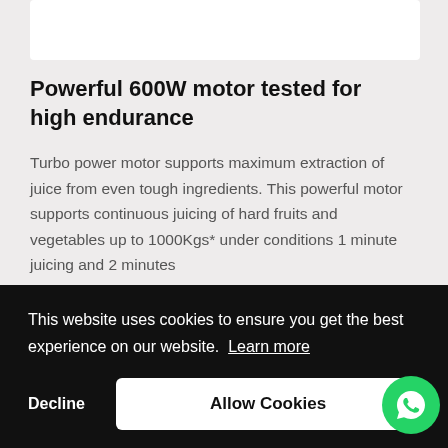[Figure (photo): White rectangular image placeholder at the top of the page]
Powerful 600W motor tested for high endurance
Turbo power motor supports maximum extraction of juice from even tough ingredients. This powerful motor supports continuous juicing of hard fruits and vegetables up to 1000Kgs* under conditions 1 minute juicing and 2 minutes
This website uses cookies to ensure you get the best experience on our website. Learn more
Decline
Allow Cookies